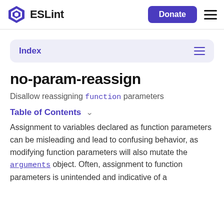ESLint  Donate
Index
no-param-reassign
Disallow reassigning function parameters
Table of Contents
Assignment to variables declared as function parameters can be misleading and lead to confusing behavior, as modifying function parameters will also mutate the arguments object. Often, assignment to function parameters is unintended and indicative of a